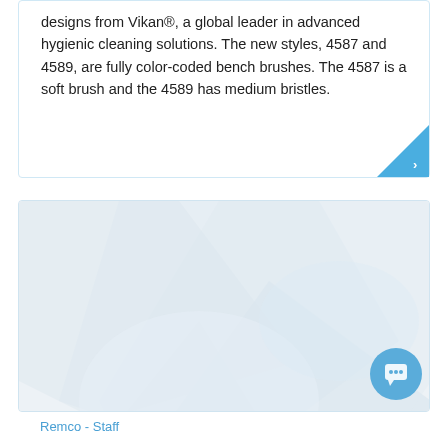designs from Vikan®, a global leader in advanced hygienic cleaning solutions. The new styles, 4587 and 4589, are fully color-coded bench brushes. The 4587 is a soft brush and the 4589 has medium bristles.
[Figure (photo): A light grey/blue background image with soft geometric shapes, likely product or promotional imagery for cleaning brushes. A circular blue chat button icon appears in the bottom right corner.]
Remco - Staff